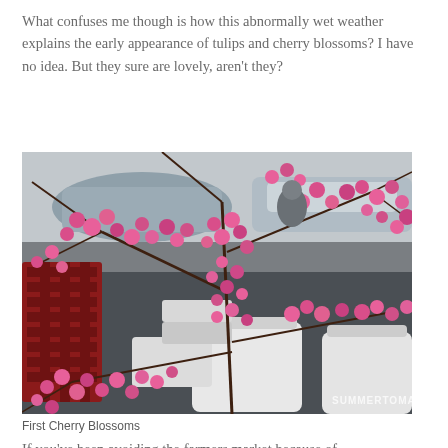What confuses me though is how this abnormally wet weather explains the early appearance of tulips and cherry blossoms? I have no idea. But they sure are lovely, aren't they?
[Figure (photo): Photo of cherry blossom branches with bright pink flowers displayed at a farmers market, with a red plastic crate on the left, white buckets, and cars in the background. Watermark reads SUMMERTOMATO in bottom right.]
First Cherry Blossoms
If you've been avoiding the farmers market because of